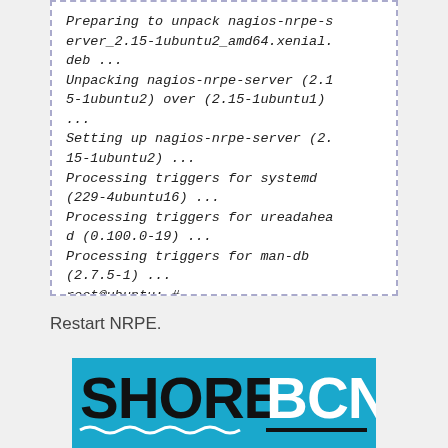Preparing to unpack nagios-nrpe-server_2.15-1ubuntu2_amd64.xenial.deb ...
Unpacking nagios-nrpe-server (2.15-1ubuntu2) over (2.15-1ubuntu1) ...
Setting up nagios-nrpe-server (2.15-1ubuntu2) ...
Processing triggers for systemd (229-4ubuntu16) ...
Processing triggers for ureadahead (0.100.0-19) ...
Processing triggers for man-db (2.7.5-1) ...
root@ubuntu:~#
Restart NRPE.
[Figure (logo): SHORE BCN logo on cyan/blue background with wave underline decoration]